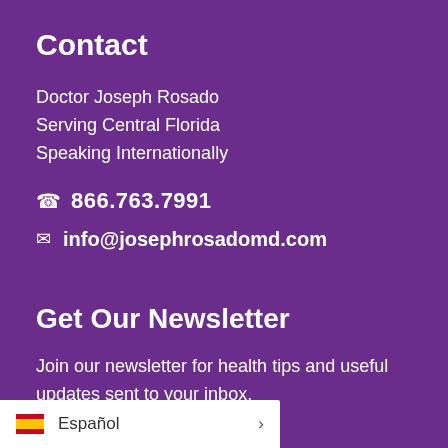Contact
Doctor Joseph Rosado
Serving Central Florida
Speaking Internationally
866.763.7991
info@josephrosadomd.com
Get Our Newsletter
Join our newsletter for health tips and useful updates sent to your inbox.
Español